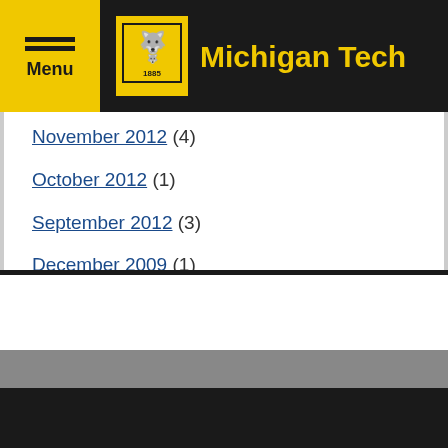Menu | Michigan Tech
November 2012 (4)
October 2012 (1)
September 2012 (3)
December 2009 (1)
November 2009 (1)
September 2009 (1)
August 2009 (1)
June 2009 (1)